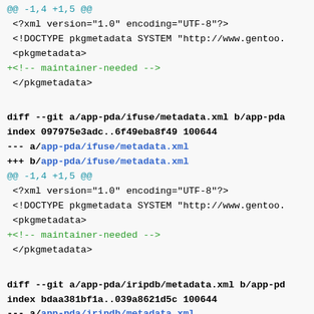@@ -1,4 +1,5 @@
 <?xml version="1.0" encoding="UTF-8"?>
 <!DOCTYPE pkgmetadata SYSTEM "http://www.gentoo.
 <pkgmetadata>
+<!-- maintainer-needed -->
 </pkgmetadata>
diff --git a/app-pda/ifuse/metadata.xml b/app-pda
index 097975e3adc..6f49eba8f49 100644
--- a/app-pda/ifuse/metadata.xml
+++ b/app-pda/ifuse/metadata.xml
@@ -1,4 +1,5 @@
 <?xml version="1.0" encoding="UTF-8"?>
 <!DOCTYPE pkgmetadata SYSTEM "http://www.gentoo.
 <pkgmetadata>
+<!-- maintainer-needed -->
 </pkgmetadata>
diff --git a/app-pda/iripdb/metadata.xml b/app-pd
index bdaa381bf1a..039a8621d5c 100644
--- a/app-pda/iripdb/metadata.xml
+++ b/app-pda/iripdb/metadata.xml
@@ -1,0 +1,7 @@